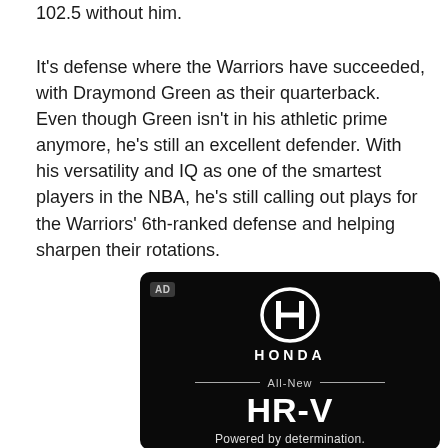102.5 without him.
It’s defense where the Warriors have succeeded, with Draymond Green as their quarterback. Even though Green isn’t in his athletic prime anymore, he’s still an excellent defender. With his versatility and IQ as one of the smartest players in the NBA, he’s still calling out plays for the Warriors’ 6th-ranked defense and helping sharpen their rotations.
[Figure (other): Honda advertisement showing the Honda logo, 'All-New HR-V', and tagline 'Powered by determination.' on a black background with 'AD' label in the top-left corner.]